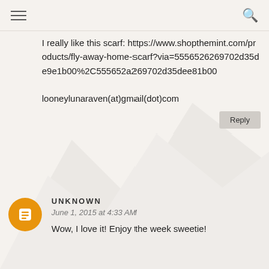I really like this scarf: https://www.shopthemint.com/products/fly-away-home-scarf?via=5556526269702d35de9e1b00%2C555652a269702d35dee81b00

looneylunaraven(at)gmail(dot)com
UNKNOWN
June 1, 2015 at 4:33 AM
Wow, I love it! Enjoy the week sweetie!